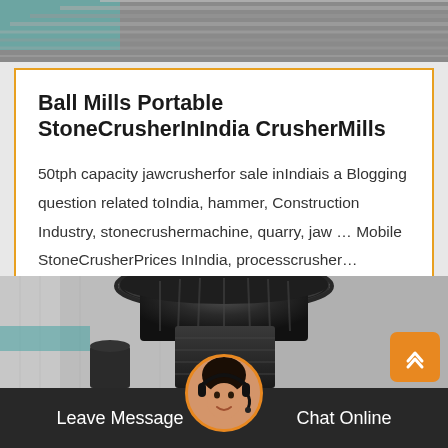[Figure (photo): Industrial metal plates or components, top image strip with teal and grey tones]
Ball Mills Portable StoneCrusherInIndia CrusherMills
50tph capacity jawcrusherfor sale inIndiais a Blogging question related toIndia, hammer, Construction Industry, stonecrushermachine, quarry, jaw … Mobile StoneCrusherPrices InIndia, processcrusher…
[Figure (photo): Industrial cone crusher machine in factory setting, bottom image]
Leave Message   Chat Online